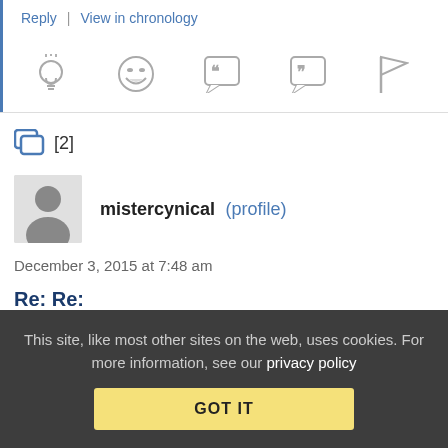Reply | View in chronology
[Figure (infographic): Row of 5 action icons: lightbulb, laughing emoji, speech bubble with quote marks (66), speech bubble with quote marks (99), flag]
[2]
mistercynical (profile)
December 3, 2015 at 7:48 am
Re: Re:
I have to question an “electronic engineer versed in electronic
This site, like most other sites on the web, uses cookies. For more information, see our privacy policy
GOT IT